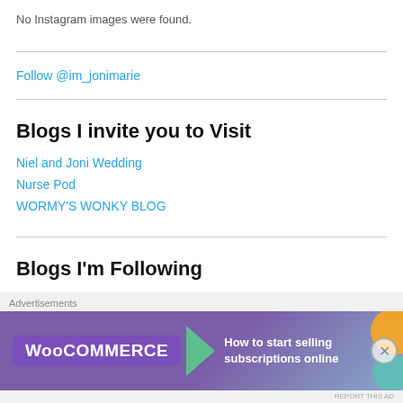No Instagram images were found.
Follow @im_jonimarie
Blogs I invite you to Visit
Niel and Joni Wedding
Nurse Pod
WORMY'S WONKY BLOG
Blogs I'm Following
Happsters
Advertisements
[Figure (screenshot): WooCommerce advertisement banner: 'How to start selling subscriptions online']